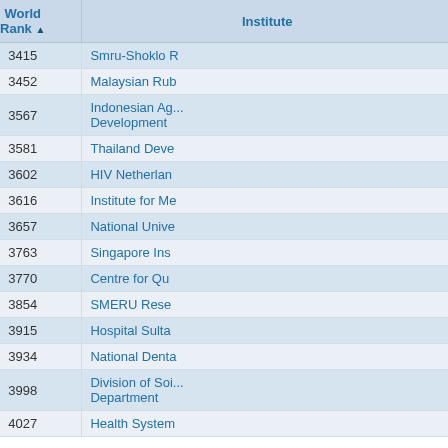| ranking | World Rank | Institute |
| --- | --- | --- |
| 40 | 3415 | Smru-Shoklo R... |
| 41 | 3452 | Malaysian Rub... |
| 42 | 3567 | Indonesian Ag... Development |
| 43 | 3581 | Thailand Deve... |
| 44 | 3602 | HIV Netherlan... |
| 45 | 3616 | Institute for Me... |
| 46 | 3657 | National Unive... |
| 47 | 3763 | Singapore Ins... |
| 48 | 3770 | Centre for Qu... |
| 49 | 3854 | SMERU Rese... |
| 50 | 3915 | Hospital Sulta... |
| 51 | 3934 | National Denta... |
| 52 | 3998 | Division of Soi... Department |
| 53 | 4027 | Health System... |